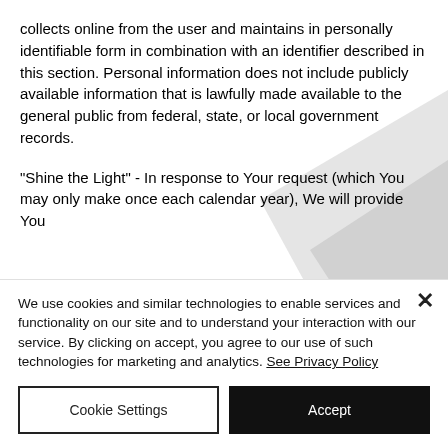collects online from the user and maintains in personally identifiable form in combination with an identifier described in this section. Personal information does not include publicly available information that is lawfully made available to the general public from federal, state, or local government records.
"Shine the Light" - In response to Your request (which You may only make once each calendar year), We will provide You
We use cookies and similar technologies to enable services and functionality on our site and to understand your interaction with our service. By clicking on accept, you agree to our use of such technologies for marketing and analytics. See Privacy Policy